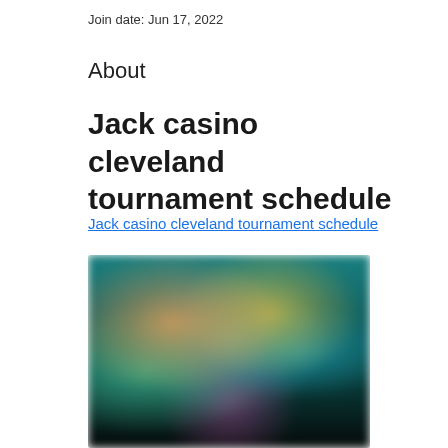Join date: Jun 17, 2022
About
Jack casino cleveland tournament schedule
Jack casino cleveland tournament schedule
[Figure (photo): Blurred screenshot of a casino gaming interface with colorful characters and game thumbnails on a dark teal/dark background]